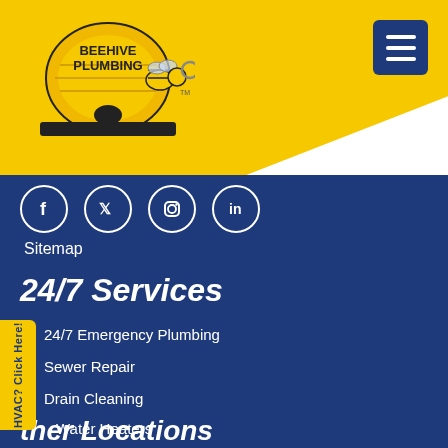[Figure (logo): Beehive Plumbing logo with beehive illustration and bee character]
[Figure (other): Hamburger menu button (three horizontal lines) on dark blue background]
[Figure (infographic): Social media icons row: Facebook, Twitter, Instagram, LinkedIn - white circle outlines on blue background]
Sitemap
24/7 Services
24/7 Emergency Plumbing
Sewer Repair
Drain Cleaning
Water Heaters
Commercial Plumbing
We're Hiring!
Financing Available
HVAC? Click Here!
ther Locations